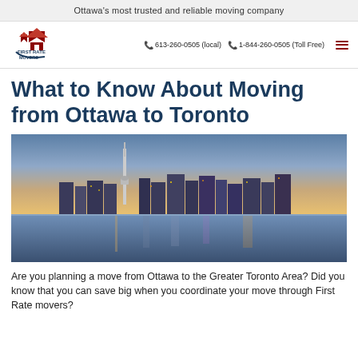Ottawa's most trusted and reliable moving company
[Figure (logo): First Rate Movers logo with red house/rooftop icon and text]
613-260-0505 (local)  1-844-260-0505 (Toll Free)
What to Know About Moving from Ottawa to Toronto
[Figure (photo): Toronto city skyline at dusk with CN Tower reflected in water]
Are you planning a move from Ottawa to the Greater Toronto Area? Did you know that you can save big when you coordinate your move through First Rate movers?